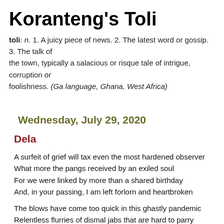Koranteng's Toli
toli: n. 1. A juicy piece of news. 2. The latest word or gossip. 3. The talk of the town, typically a salacious or risque tale of intrigue, corruption or foolishness. (Ga language, Ghana, West Africa)
Wednesday, July 29, 2020
Dela
A surfeit of grief will tax even the most hardened observer
What more the pangs received by an exiled soul
For we were linked by more than a shared birthday
And, in your passing, I am left forlorn and heartbroken

The blows have come too quick in this ghastly pandemic
Relentless flurries of dismal jabs that are hard to parry
Even with the best preparation, it is hard to take the news
There's no easy living with this kind of abuse.

I remember my eighth birthday, a day I gladly spent with you
First the party at my house, and then at yours, it was round two
...